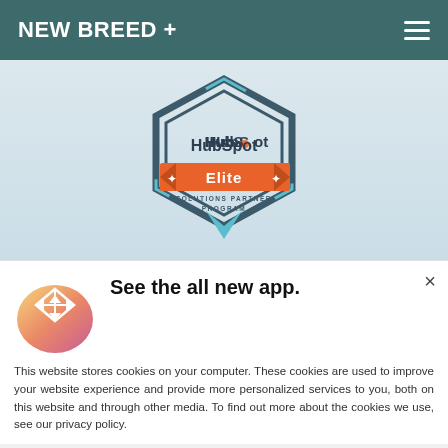NEW BREED +
[Figure (logo): HubSpot Elite Solutions Partner Program badge — dark hexagon shape with teal accent, orange banner reading 'Elite' with arrow chevrons, 'HubSpot' text above, 'Solutions Partner Program' text below]
See the all new app.
This website stores cookies on your computer. These cookies are used to improve your website experience and provide more personalized services to you, both on this website and through other media. To find out more about the cookies we use, see our privacy policy.
ACCEPT